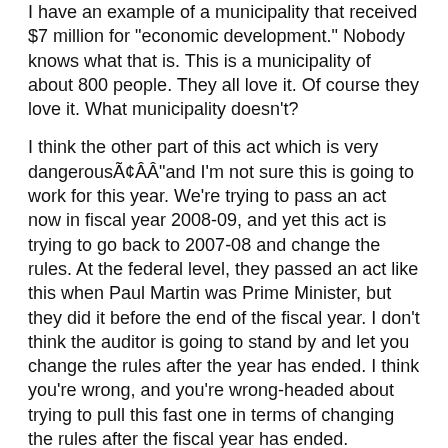I have an example of a municipality that received $7 million for "economic development." Nobody knows what that is. This is a municipality of about 800 people. They all love it. Of course they love it. What municipality doesn't?
I think the other part of this act which is very dangerous—and I'm not sure this is going to work for this year. We're trying to pass an act now in fiscal year 2008-09, and yet this act is trying to go back to 2007-08 and change the rules. At the federal level, they passed an act like this when Paul Martin was Prime Minister, but they did it before the end of the fiscal year. I don't think the auditor is going to stand by and let you change the rules after the year has ended. I think you're wrong, and you're wrong-headed about trying to pull this fast one in terms of changing the rules after the fiscal year has ended.
The Acting Speaker (Ms. Andrea Horwath): The member for London—Fanshawe for a response.
Mr. Khalil Ramal: I want to thank the members from